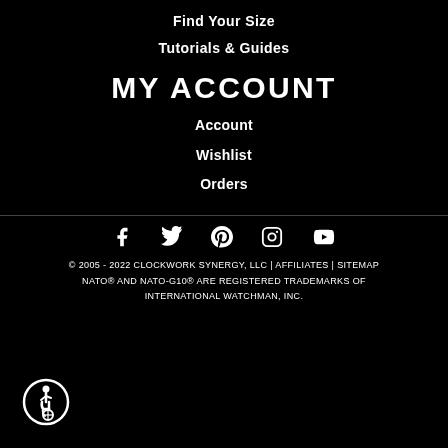Find Your Size
Tutorials & Guides
MY ACCOUNT
Account
Wishlist
Orders
[Figure (infographic): Social media icons row: Facebook, Twitter, Pinterest, Instagram, YouTube]
© 2005 - 2022 CLOCKWORK SYNERGY, LLC | AFFILIATES | SITEMAP NATO® AND NATO-G10® ARE REGISTERED TRADEMARKS OF INTERNATIONAL WATCHMAN, INC.
[Figure (logo): Accessibility/wheelchair icon in a circle]